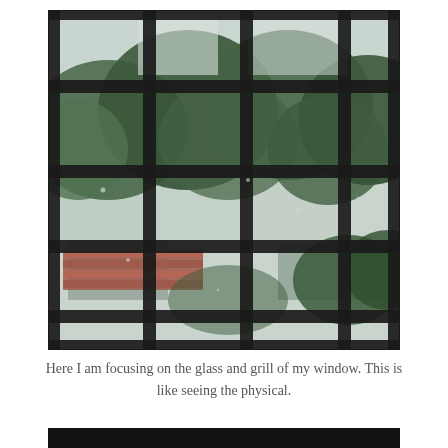[Figure (photo): A close-up photograph of a grimy window with metal grills/bars in a grid pattern. Through the glass panes, green trees, rooftops with red/terracotta tiles, and an overcast sky are visible. The window frame and grills are dark/black with age and dirt.]
Here I am focusing on the glass and grill of my window. This is like seeing the physical.